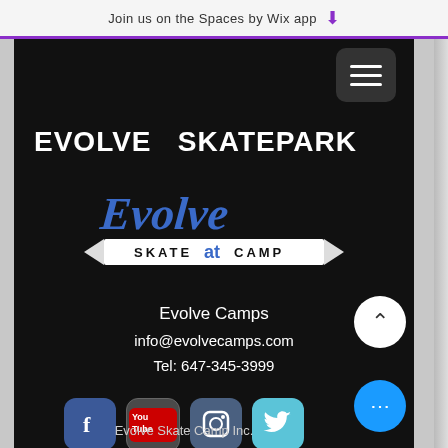Join us on the Spaces by Wix app ⬇
EVOLVE  SKATEPARK
[Figure (logo): Evolve Skate Camp logo — cursive 'Evolve' in blue with 'SKATE CAMP' banner underneath]
Evolve Camps
info@evolvecamps.com
Tel: 647-345-3999
[Figure (infographic): Social media icons row: Facebook, YouTube, Instagram, Twitter]
Evolve Skate Camp Inc.